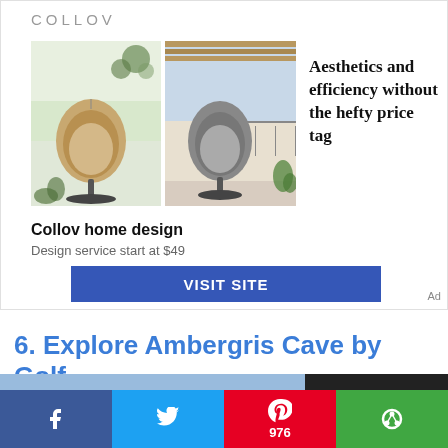[Figure (screenshot): Collov home design advertisement with logo, two hanging egg chair photos, tagline 'Aesthetics and efficiency without the hefty price tag', brand name, subtext, and blue VISIT SITE button]
Collov home design
Design service start at $49
VISIT SITE
Ad
6. Explore Ambergris Cave by Golf
[Figure (photo): Airplane cargo loading scene with Southwest Airlines aircraft visible]
[Figure (screenshot): Dark badge with text: WITHOUT REGARD TO POLITICS, RELIGION OR UTILITY TO MIL]
[Figure (infographic): Social sharing bar with Facebook, Twitter, Pinterest (976), and another share button]